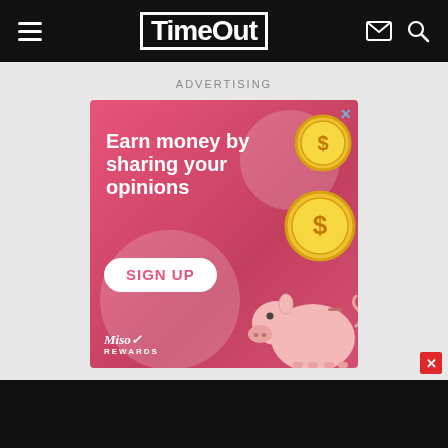TimeOut
ADVERTISING
[Figure (illustration): Advertisement banner for Miso Rewards: pink/red background with text 'Earn money by sharing your opinions', a SIGN UP button, gold coin illustrations, a piggy bank illustration, and the Miso Rewards logo.]